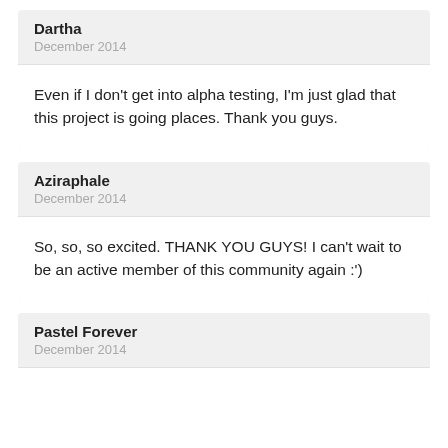Dartha
December 2014
Even if I don't get into alpha testing, I'm just glad that this project is going places. Thank you guys.
Aziraphale
December 2014
So, so, so excited. THANK YOU GUYS! I can't wait to be an active member of this community again :')
Pastel Forever
December 2014